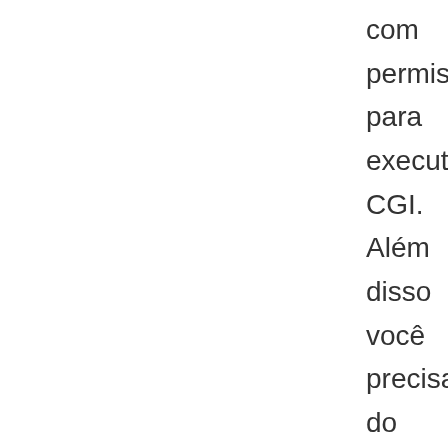com permissão para executar CGI. Além disso você precisará do Python (lógico), Nmap, Traceroute e do Ping. Ele também funciona apenas em sistemas Unix-like